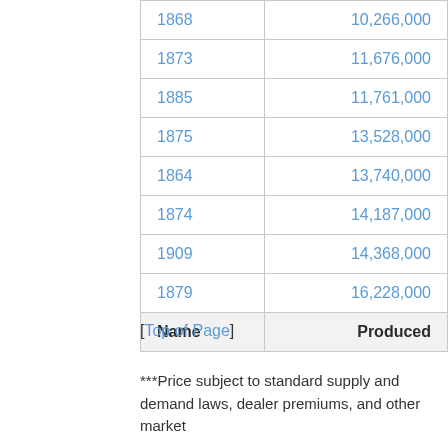| Name | Produced |
| --- | --- |
| 1868 | 10,266,000 |
| 1873 | 11,676,000 |
| 1885 | 11,761,000 |
| 1875 | 13,528,000 |
| 1864 | 13,740,000 |
| 1874 | 14,187,000 |
| 1909 | 14,368,000 |
| 1879 | 16,228,000 |
| Name | Produced |
[Top of Page]
***Price subject to standard supply and demand laws, dealer premiums, and other market